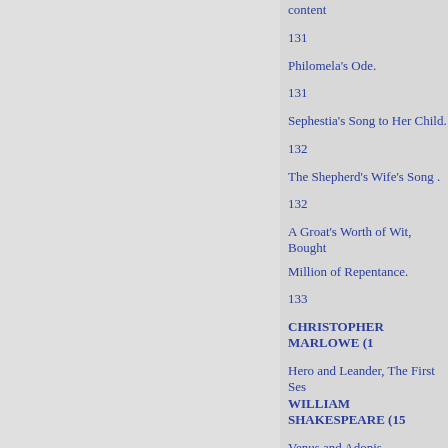content
131
Philomela's Ode.
131
Sephestia's Song to Her Child.
132
The Shepherd's Wife's Song .
132
A Groat's Worth of Wit, Bought
Million of Repentance.
133
CHRISTOPHER MARLOWE (1
Hero and Leander, The First Ses
WILLIAM SHAKESPEARE (15
Venus and Adonis.
137
Sonnets.
139